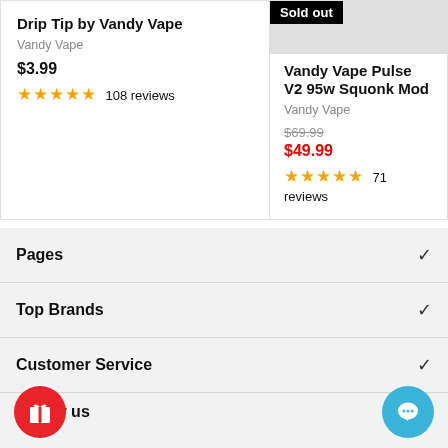Drip Tip by Vandy Vape
Vandy Vape
$3.99
★★★★★ 108 reviews
Vandy Vape Pulse V2 95w Squonk Mod
Vandy Vape
$69.99
$49.99
★★★★★ 71 reviews
Pages
Top Brands
Customer Service
Follow us